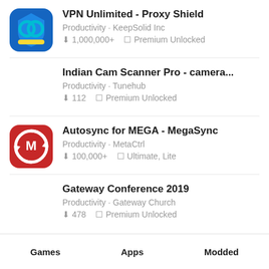VPN Unlimited - Proxy Shield
Productivity · KeepSolid Inc
⬇ 1,000,000+   □ Premium Unlocked
Indian Cam Scanner Pro - camera...
Productivity · Tunehub
⬇ 112   □ Premium Unlocked
Autosync for MEGA - MegaSync
Productivity · MetaCtrl
⬇ 100,000+   □ Ultimate, Lite
Gateway Conference 2019
Productivity · Gateway Church
⬇ 478   □ Premium Unlocked
Games   Apps   Modded